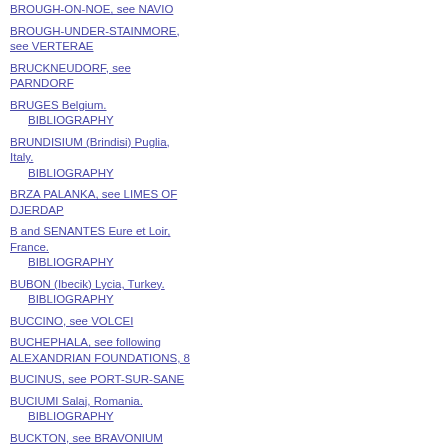BROUGH-ON-NOE, see NAVIO
BROUGH-UNDER-STAINMORE, see VERTERAE
BRUCKNEUDORF, see PARNDORF
BRUGES Belgium.
    BIBLIOGRAPHY
BRUNDISIUM (Brindisi) Puglia, Italy.
    BIBLIOGRAPHY
BRZA PALANKA, see LIMES OF DJERDAP
B and SENANTES Eure et Loir, France.
    BIBLIOGRAPHY
BUBON (Ibecik) Lycia, Turkey.
    BIBLIOGRAPHY
BUCCINO, see VOLCEI
BUCHEPHALA, see following ALEXANDRIAN FOUNDATIONS, 8
BUCINUS, see PORT-SUR-SANE
BUCIUMI Salaj, Romania.
    BIBLIOGRAPHY
BUCKTON, see BRAVONIUM
BUDAPEST, see AQUINCUM
BUGOJNO Bosnia-Herzegovina, Yugoslavia.
    BIBLIOGRAPHY